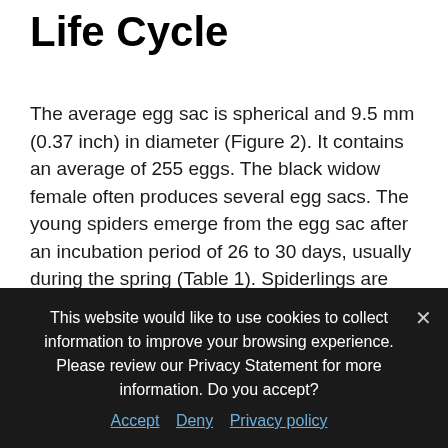Life Cycle
The average egg sac is spherical and 9.5 mm (0.37 inch) in diameter (Figure 2). It contains an average of 255 eggs. The black widow female often produces several egg sacs. The young spiders emerge from the egg sac after an incubation period of 26 to 30 days, usually during the spring (Table 1). Spiderlings are then dispersed to different geographic areas through “ballooning.”
This website would like to use cookies to collect information to improve your browsing experience. Please review our Privacy Statement for more information. Do you accept?